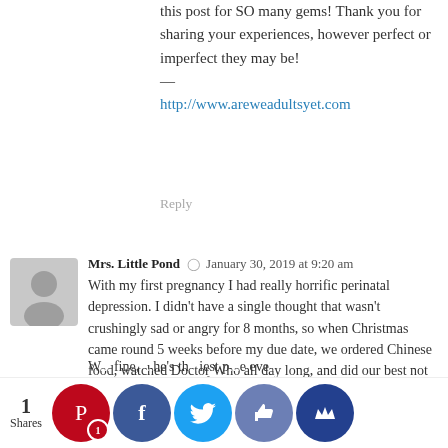this post for SO many gems! Thank you for sharing your experiences, however perfect or imperfect they may be!
—
http://www.areweadultsyet.com
Reply
Mrs. Little Pond  ⊙  January 30, 2019 at 9:20 am
With my first pregnancy I had really horrific perinatal depression. I didn't have a single thought that wasn't crushingly sad or angry for 8 months, so when Christmas came round 5 weeks before my due date, we ordered Chinese food, watched Doctor Who all day long, and did our best not to speak to any other humans. Three days later my water broke and we had a 4lb 8oz 35 week baby boy, who came home with us the next day (doctors: *shrug?* he seems fine). Boy it's hard to plan when you're depressed, isn't it? I didn't even have a pediatrician. But I did feel 100% better as soon as my contractions started and never sank quite so low again, so there's that.
W... fine, ...he's th...iest p...e eve... 99t...rcentile in...ght for yea...now, curren...crushing